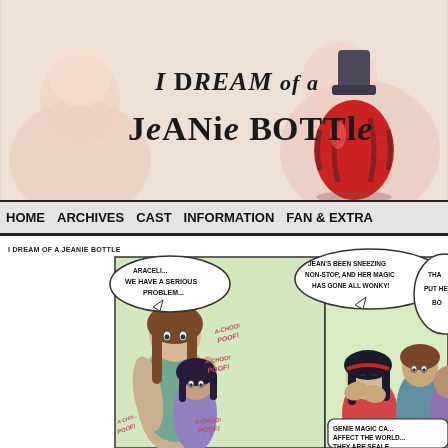[Figure (illustration): Website header banner for 'I Dream of a Jeanie Bottle' webcomic, showing cartoon characters in the background (faded), with a decorative title logo and a red/dark bottle illustration on the right.]
HOME   ARCHIVES   CAST   INFORMATION   FAN & EXTRA
[Figure (illustration): Webcomic strip panels: Left panel shows two characters with speech bubbles 'ARACELI... WE HAVE A SERIOUS PROBLEM...' with A-CHOO/POOF sound effects. Right panel shows characters with speech bubble 'JEAN'S BEEN SNEEZING NON-STOP, AND HER MAGIC HAS GONE ALL WONKY!' and partial 'THA... PUT HE... BO...' and bottom partial 'GENIE MAGIC CA... AFFECT THE WORLD... THEY ARE SEALE...']